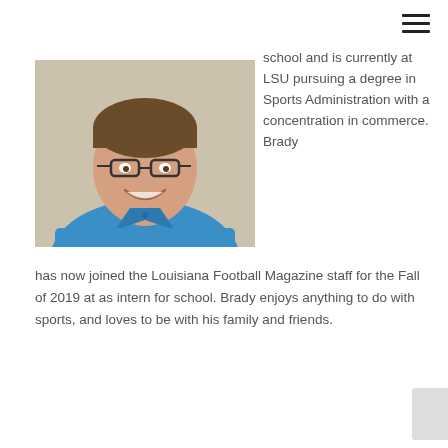[Figure (photo): Headshot of a young man with glasses, smiling, wearing a blue polo shirt, against a light brick wall background.]
school and is currently at LSU pursuing a degree in Sports Administration with a concentration in commerce.  Brady has now joined the Louisiana Football Magazine staff for the Fall of 2019 at as intern for school. Brady enjoys anything to do with sports, and loves to be with his family and friends.